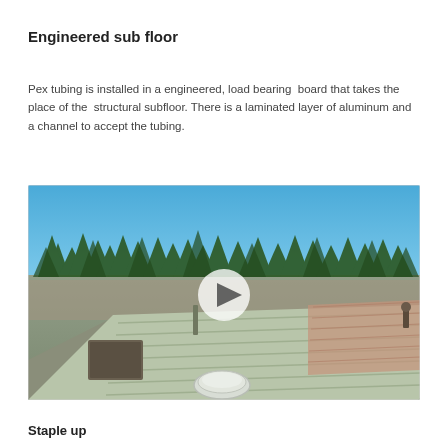Engineered sub floor
Pex tubing is installed in a engineered, load bearing  board that takes the place of the  structural subfloor. There is a laminated layer of aluminum and a channel to accept the tubing.
[Figure (photo): Photo/video thumbnail showing an engineered subfloor with PEX tubing channels laid across a flat construction site, surrounded by pine trees under a blue sky. A white play button is centered over the image.]
Staple up